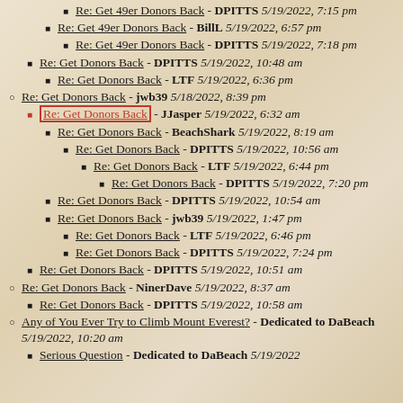Re: Get 49er Donors Back - DPITTS 5/19/2022, 7:15 pm
Re: Get 49er Donors Back - BillL 5/19/2022, 6:57 pm
Re: Get 49er Donors Back - DPITTS 5/19/2022, 7:18 pm
Re: Get Donors Back - DPITTS 5/19/2022, 10:48 am
Re: Get Donors Back - LTF 5/19/2022, 6:36 pm
Re: Get Donors Back - jwb39 5/18/2022, 8:39 pm
Re: Get Donors Back - JJasper 5/19/2022, 6:32 am
Re: Get Donors Back - BeachShark 5/19/2022, 8:19 am
Re: Get Donors Back - DPITTS 5/19/2022, 10:56 am
Re: Get Donors Back - LTF 5/19/2022, 6:44 pm
Re: Get Donors Back - DPITTS 5/19/2022, 7:20 pm
Re: Get Donors Back - DPITTS 5/19/2022, 10:54 am
Re: Get Donors Back - jwb39 5/19/2022, 1:47 pm
Re: Get Donors Back - LTF 5/19/2022, 6:46 pm
Re: Get Donors Back - DPITTS 5/19/2022, 7:24 pm
Re: Get Donors Back - DPITTS 5/19/2022, 10:51 am
Re: Get Donors Back - NinerDave 5/19/2022, 8:37 am
Re: Get Donors Back - DPITTS 5/19/2022, 10:58 am
Any of You Ever Try to Climb Mount Everest? - Dedicated to DaBeach 5/19/2022, 10:20 am
Serious Question - Dedicated to DaBeach 5/19/2022